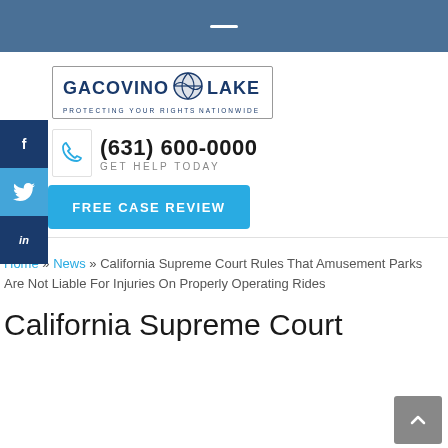[Figure (logo): Gacovino Lake law firm logo with text 'GACOVINO LAKE - PROTECTING YOUR RIGHTS NATIONWIDE' and globe icon]
(631) 600-0000
GET HELP TODAY
FREE CASE REVIEW
Home » News » California Supreme Court Rules That Amusement Parks Are Not Liable For Injuries On Properly Operating Rides
California Supreme Court